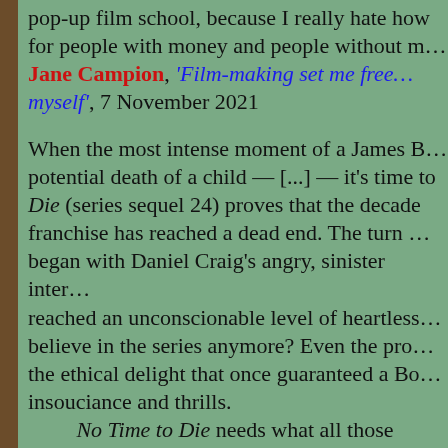pop-up film school, because I really hate how for people with money and people without m… Jane Campion, 'Film-making set me free… myself', 7 November 2021
When the most intense moment of a James B… potential death of a child — [...] — it's time to… Die (series sequel 24) proves that the decade… franchise has reached a dead end. The turn … began with Daniel Craig's angry, sinister inter… reached an unconscionable level of heartless… believe in the series anymore? Even the pro… the ethical delight that once guaranteed a Bo… insouciance and thrills. No Time to Die needs what all those earlie… their times; it needs a George Soros figure (c… to set the bar for an appropriate James Bond… still fantasize that Bond is the Western world'… to Die indicates that Bond and his audience a… and defeated.